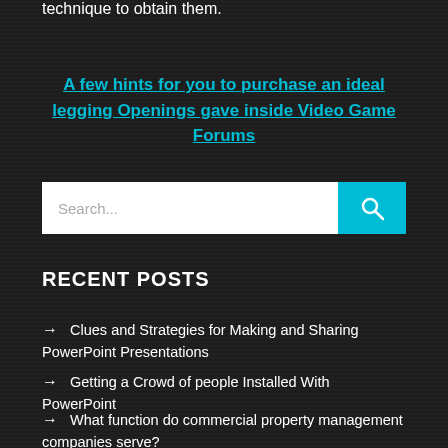technique to obtain them.
A few hints for you to purchase an ideal legging Openings gave inside Video Game Forums
Search...
RECENT POSTS
→ Clues and Strategies for Making and Sharing PowerPoint Presentations
→ Getting a Crowd of people Installed With PowerPoint
→ What function do commercial property management companies serve?